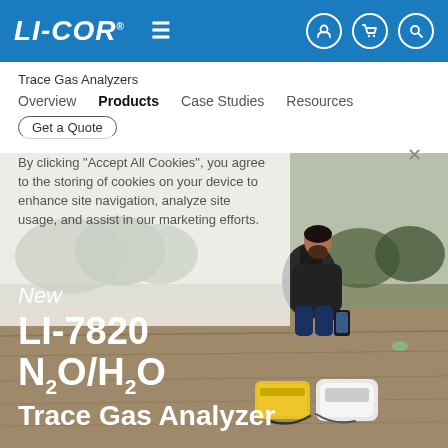LI-COR | Trace Gas Analyzers
Trace Gas Analyzers
Overview | Products | Case Studies | Resources | Get a Quote
[Figure (photo): Researcher kneeling in a dry field using a smartphone, with scientific equipment on the ground including a yellow case and white gas analyzer instrument. Background shows trees and open farmland.]
By clicking "Accept All Cookies", you agree to the storing of cookies on your device to enhance site navigation, analyze site usage, and assist in our marketing efforts.
New LI-7820 N2O/H2O Trace Gas Analyzer